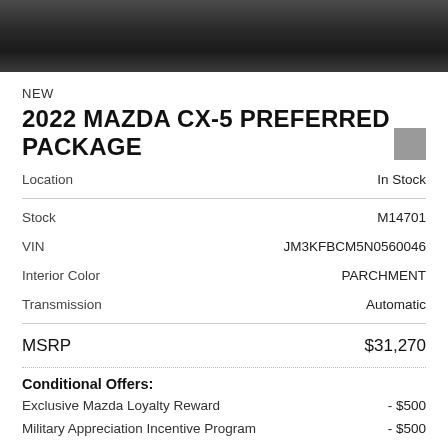[Figure (photo): Partial view of a dark-colored Mazda CX-5 vehicle from above/front angle]
NEW
2022 MAZDA CX-5 PREFERRED PACKAGE
| Location | In Stock |
| Stock | M14701 |
| VIN | JM3KFBCM5N0560046 |
| Interior Color | PARCHMENT |
| Transmission | Automatic |
| MSRP | $31,270 |
Conditional Offers:
Exclusive Mazda Loyalty Reward	- $500
Military Appreciation Incentive Program	- $500